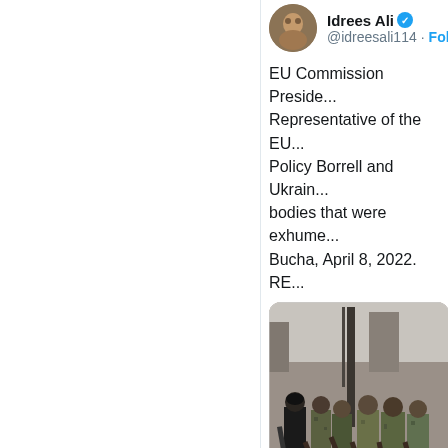[Figure (screenshot): Twitter/X screenshot showing tweet by Idrees Ali (@idreesali114) with verified badge and Follow button. Tweet text reads: 'EU Commission Preside... Representative of the EU... Policy Borrell and Ukrain... bodies that were exhume... Bucha, April 8, 2022. RE...' with an embedded photo showing military personnel in camouflage standing outdoors near body bags.]
Idrees Ali
@idreesali114 · Follow
EU Commission Preside... Representative of the EU... Policy Borrell and Ukrain... bodies that were exhume... Bucha, April 8, 2022. RE...